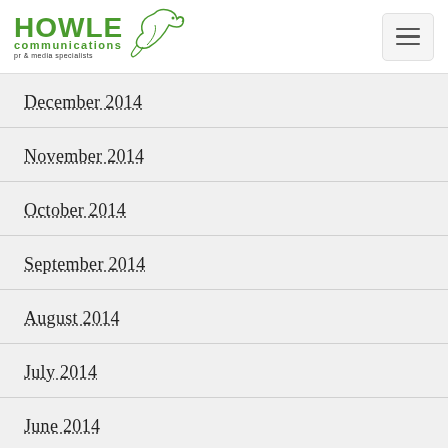Howle Communications - pr & media specialists
December 2014
November 2014
October 2014
September 2014
August 2014
July 2014
June 2014